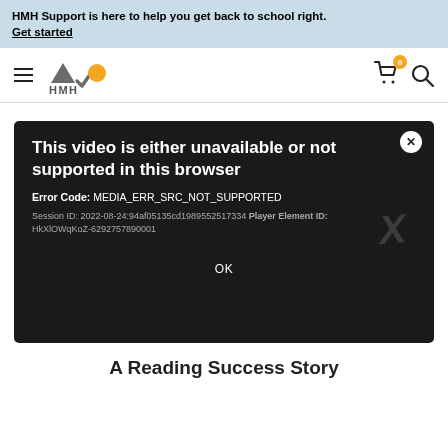HMH Support is here to help you get back to school right. Get started
[Figure (screenshot): HMH website navigation bar with hamburger menu, HMH logo (triangle, checkmark, and circle icons), shopping cart with badge showing 0 items, and search icon]
[Figure (screenshot): Video error dialog on dark background. Title: 'This video is either unavailable or not supported in this browser'. Error Code: MEDIA_ERR_SRC_NOT_SUPPORTED. Session ID: 2022-08-24:94af05135cd1989552517334 Player Element ID: HkXlOWqKoZ-6292757890001. Close button (X) in top right. OK button at bottom.]
A Reading Success Story